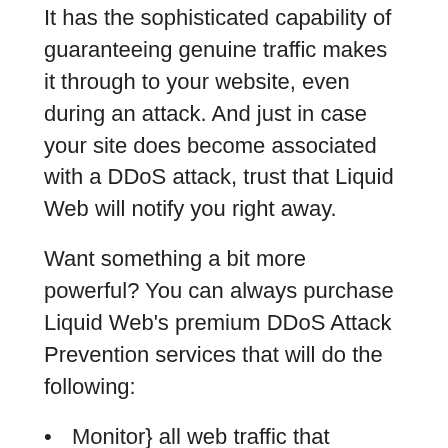It has the sophisticated capability of guaranteeing genuine traffic makes it through to your website, even during an attack. And just in case your site does become associated with a DDoS attack, trust that Liquid Web will notify you right away.
Want something a bit more powerful? You can always purchase Liquid Web's premium DDoS Attack Prevention services that will do the following:
Monitor} all web traffic that reaches your site in real-time
Wisely recognize attacks prior to they happen and proactively respond
Scrub and separate all malicious traffic prior to